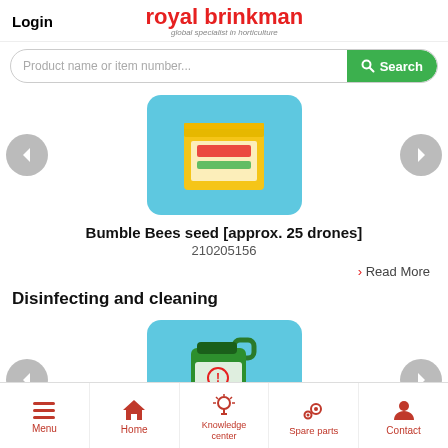Login | royal brinkman – global specialist in horticulture
Product name or item number...
[Figure (photo): Yellow product box (Bumble Bees seed) on light blue rounded background]
Bumble Bees seed [approx. 25 drones]
210205156
› Read More
Disinfecting and cleaning
[Figure (photo): Green plastic canister (Menno florades 10 ltr) on light blue rounded background]
Menno florades 10 ltr
Menu | Home | Knowledge center | Spare parts | Contact